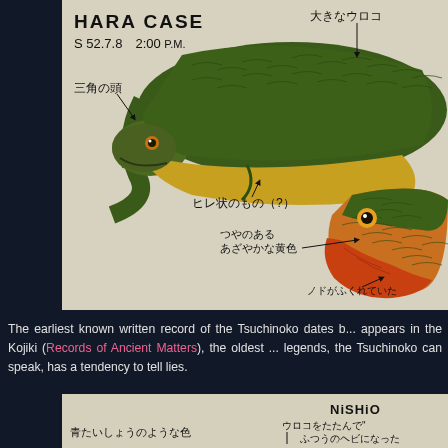[Figure (illustration): Hand-drawn illustration of the Tsuchinoko creature labeled 'HARA CASE', dated S52.7.8 2:00 P.M., with Japanese annotations pointing to features: large scales (大きなウロコ), triangular head (三角の頭), fin-like appendage (ヒレ状のもの(?)), vivid yellow color (つやのあるあざやかな黄色), swollen throat (ノドがふくれていた). Shows two views: full body and close-up head.]
The earliest known written record of the Tsuchinoko dates b... appears in the Kojiki (Records of Ancient Matters), the oldest ... legends, the Tsuchinoko can speak, has a tendency to tell lies.
[Figure (illustration): Partial bottom illustration labeled 'NiSHiO...' with Japanese annotations: blue-green color like Shōchū (青たいしょうのような色) on left, and text about scales (ウロコをたたんで ふつうのヘビになった) on right.]